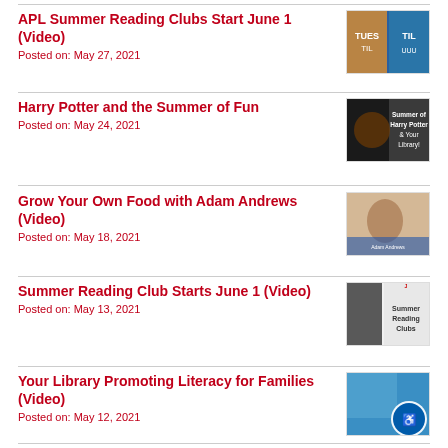APL Summer Reading Clubs Start June 1 (Video)
Posted on: May 27, 2021
Harry Potter and the Summer of Fun
Posted on: May 24, 2021
Grow Your Own Food with Adam Andrews (Video)
Posted on: May 18, 2021
Summer Reading Club Starts June 1 (Video)
Posted on: May 13, 2021
Your Library Promoting Literacy for Families (Video)
Posted on: May 12, 2021